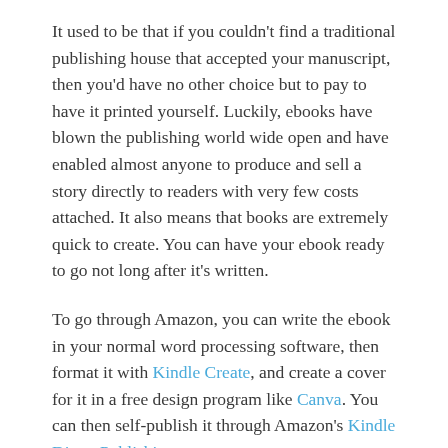It used to be that if you couldn't find a traditional publishing house that accepted your manuscript, then you'd have no other choice but to pay to have it printed yourself. Luckily, ebooks have blown the publishing world wide open and have enabled almost anyone to produce and sell a story directly to readers with very few costs attached. It also means that books are extremely quick to create. You can have your ebook ready to go not long after it's written.
To go through Amazon, you can write the ebook in your normal word processing software, then format it with Kindle Create, and create a cover for it in a free design program like Canva. You can then self-publish it through Amazon's Kindle Direct Publishing.
But for wider distribution, look also at NookPress and Kobo Writing Life, which are other self-publishing